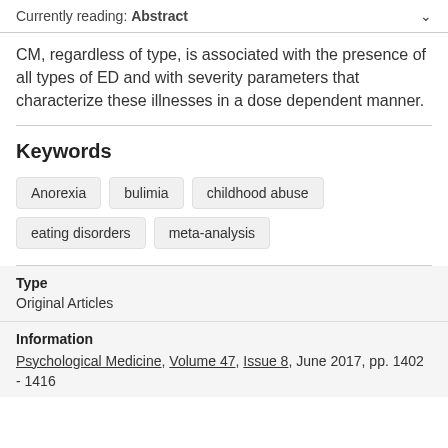Currently reading: Abstract
CM, regardless of type, is associated with the presence of all types of ED and with severity parameters that characterize these illnesses in a dose dependent manner.
Keywords
Anorexia
bulimia
childhood abuse
eating disorders
meta-analysis
Type
Original Articles
Information
Psychological Medicine, Volume 47, Issue 8, June 2017, pp. 1402 - 1416